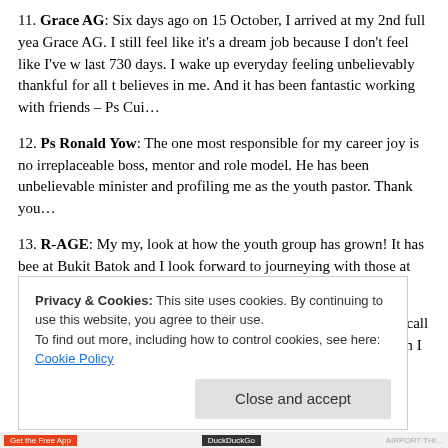11. Grace AG: Six days ago on 15 October, I arrived at my 2nd full year at Grace AG. I still feel like it's a dream job because I don't feel like I've worked the last 730 days. I wake up everyday feeling unbelievably thankful for all that believes in me. And it has been fantastic working with friends – Ps Cui…
12. Ps Ronald Yow: The one most responsible for my career joy is no irreplaceable boss, mentor and role model. He has been unbelievable minister and profiling me as the youth pastor. Thank you…
13. R-AGE: My my, look at how the youth group has grown! It has been at Bukit Batok and I look forward to journeying with those at Tanglin Ro…
14-20. Buddies: It's never good to walk alone. I am delighted to call Li… Johann, Kenneth, Joel and Cheryl my contemporaries whom I check o… check.
Privacy & Cookies: This site uses cookies. By continuing to use this website, you agree to their use. To find out more, including how to control cookies, see here: Cookie Policy
Close and accept